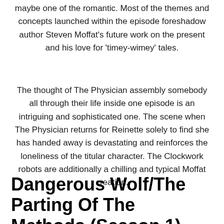maybe one of the romantic. Most of the themes and concepts launched within the episode foreshadow author Steven Moffat’s future work on the present and his love for ‘timey-wimey’ tales.
The thought of The Physician assembly somebody all through their life inside one episode is an intriguing and sophisticated one. The scene when The Physician returns for Reinette solely to find she has handed away is devastating and reinforces the loneliness of the titular character. The Clockwork robots are additionally a chilling and typical Moffat creation.
Dangerous Wolf/The Parting Of The Methods (Season 1)